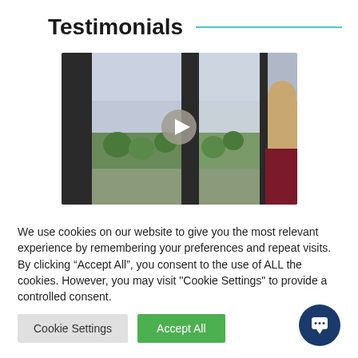Testimonials
[Figure (screenshot): Video thumbnail showing an office room with large windows overlooking trees and a city, with a person partially visible on the right side. A circular play button is centered on the video.]
We use cookies on our website to give you the most relevant experience by remembering your preferences and repeat visits. By clicking “Accept All”, you consent to the use of ALL the cookies. However, you may visit "Cookie Settings" to provide a controlled consent.
Cookie Settings | Accept All